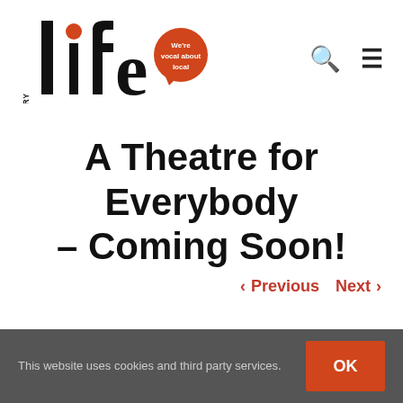Oswestry Life – We're vocal about local
A Theatre for Everybody – Coming Soon!
< Previous   Next >
This website uses cookies and third party services. OK